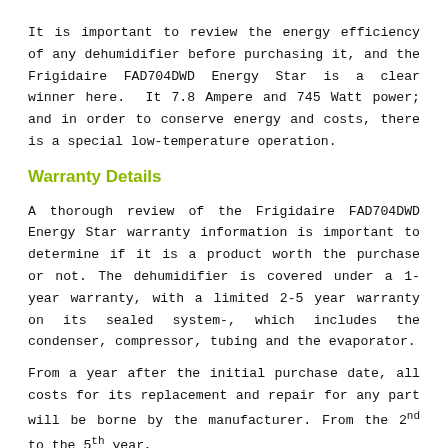It is important to review the energy efficiency of any dehumidifier before purchasing it, and the Frigidaire FAD704DWD Energy Star is a clear winner here. It 7.8 Ampere and 745 Watt power; and in order to conserve energy and costs, there is a special low-temperature operation.
Warranty Details
A thorough review of the Frigidaire FAD704DWD Energy Star warranty information is important to determine if it is a product worth the purchase or not. The dehumidifier is covered under a 1-year warranty, with a limited 2-5 year warranty on its sealed system-, which includes the condenser, compressor, tubing and the evaporator.
From a year after the initial purchase date, all costs for its replacement and repair for any part will be borne by the manufacturer. From the 2nd to the 5th year,